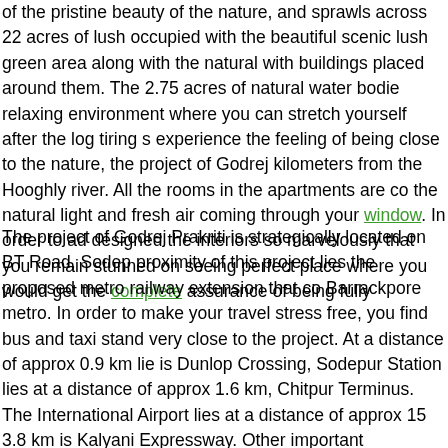of the pristine beauty of the nature, and sprawls across 22 acres of lush occupied with the beautiful scenic lush green area along with the natural with buildings placed around them. The 2.75 acres of natural water bodie relaxing environment where you can stretch yourself after the log tiring s experience the feeling of being close to the nature, the project of Godrej kilometers from the Hooghly river. All the rooms in the apartments are co the natural light and fresh air coming through your window. In order to ad designed the interiors so marvelously that you remain stunned on seeing perfect place where you would get the complete assurance of being fully
The project of Godrej Prakriti is strategically located on BT Road, Sodep proximity of this project lies the proposed metro railway extension that co Barrackpore metro. In order to make your travel stress free, you find bus and taxi stand very close to the project. At a distance of approx 0.9 km lie is Dunlop Crossing, Sodepur Station lies at a distance of approx 1.6 km, Chitpur Terminus. The International Airport lies at a distance of approx 15 3.8 km is Kalyani Expressway. Other important destination like Durgapur distance of approx 14 km, Bombay Road (NH6) at a distance of approx 1 km lies the Hooghly river while Sagar Dutta Hospital is at a distance of a neighborhood of North Kolkata is a part of the area covered by the Metro city Kolkata is the principal commercial, cultural and educational centre o